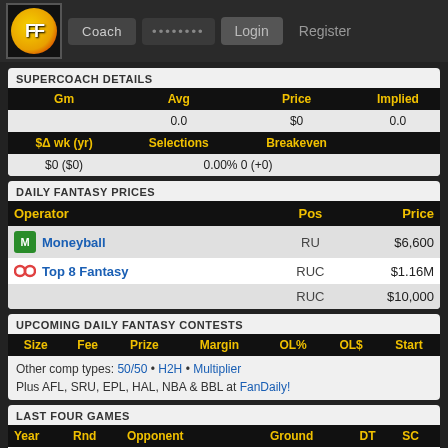FF Coach • • • • • • • •  Login  Register
SUPERCOACH DETAILS
| Gm | Avg | Price | Implied |
| --- | --- | --- | --- |
|  | 0.0 | $0 | 0.0 |
| $Δ wk (yr) | Selections | Breakeven |  |
| $0 ($0) | 0.00% 0 (+0) |  |  |
DAILY FANTASY PRICES
| Operator | Pos | Price |
| --- | --- | --- |
| Moneyball | RU | $6,600 |
| Top 8 Fantasy | RUC | $1.16M |
|  | RUC | $10,000 |
UPCOMING DAILY FANTASY CONTESTS
| Size | Fee | Prize | Margin | OL% | OL$ | Start |
| --- | --- | --- | --- | --- | --- | --- |
Other comp types: 50/50 • H2H • Multiplier
Plus AFL, SRU, EPL, HAL, NBA & BBL at FanDaily!
LAST FOUR GAMES
| Year | Rnd | Opponent | Ground | DT | SC |
| --- | --- | --- | --- | --- | --- |
| 2016 | 15 | Pt Adelaide | Adelaide | 51 | 51 |